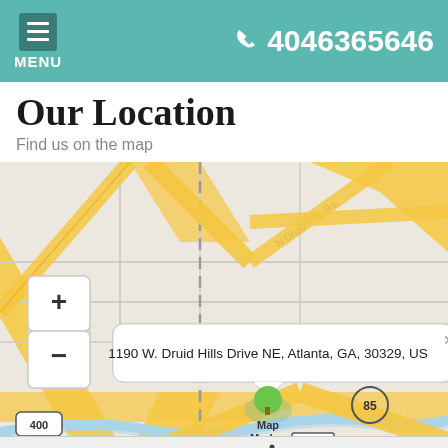MENU   4046365646
Our Location
Find us on the map
[Figure (map): Interactive street map centered on Atlanta, GA showing the area around 1190 W. Druid Hills Drive NE with roads, highways (I-85, GA-400), and a map marker popup displaying the address. Zoom controls (+/-) visible on top left. Roads include N Druid Hills Rd, Lenox Road. Address popup: 1190 W. Druid Hills Drive NE, Atlanta, GA, 30329, US]
Accessibility View